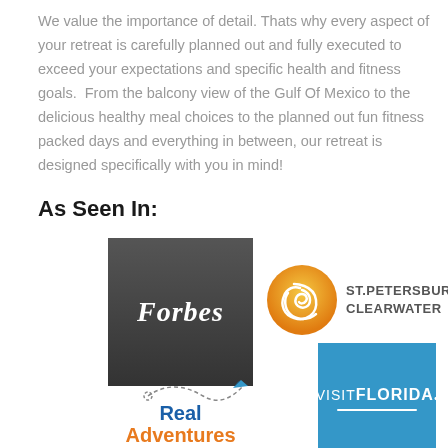We value the importance of detail. Thats why every aspect of your retreat is carefully planned out and fully executed to exceed your expectations and specific health and fitness goals. From the balcony view of the Gulf Of Mexico to the delicious healthy meal choices to the planned out fun fitness packed days and everything in between, our retreat is designed specifically with you in mind!
As Seen In:
[Figure (logo): Forbes logo (white italic text on dark grey/charcoal background)]
[Figure (logo): St. Petersburg Clearwater logo with golden swirl emblem and bold text]
[Figure (logo): Real Adventures logo with blue and orange text, dashed path and paper airplane, tagline: Life's an Adventure, Live It!]
[Figure (logo): Visit Florida logo: white VISIT and bold FLORIDA text on blue background with white line and dot]